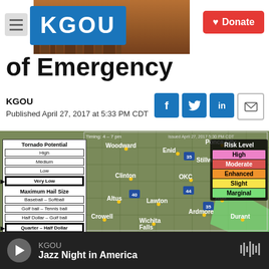KGOU — Donate
of Emergency
KGOU
Published April 27, 2017 at 5:33 PM CDT
[Figure (map): Storm risk map of Oklahoma showing tornado potential (Very Low selected), maximum hail size (Quarter - Half Dollar selected), maximum wind speed categories, and a risk level legend with High (pink), Moderate (red), Enhanced (orange), Slight (yellow), Marginal (green). Cities shown include Woodward, Ponca City, Enid, Stillwater, Clinton, OKC, Altus, Lawton, Ada, Ardmore, Crowell, Wichita Falls, Durant. A green shaded marginal risk area is visible in the southeast corner.]
KGOU | Jazz Night in America